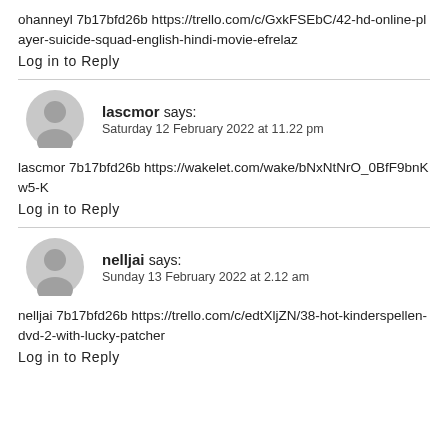ohanneyl 7b17bfd26b https://trello.com/c/GxkFSEbC/42-hd-online-player-suicide-squad-english-hindi-movie-efrelaz
Log in to Reply
lascmor says: Saturday 12 February 2022 at 11.22 pm
lascmor 7b17bfd26b https://wakelet.com/wake/bNxNtNrO_0BfF9bnKw5-K
Log in to Reply
nelljai says: Sunday 13 February 2022 at 2.12 am
nelljai 7b17bfd26b https://trello.com/c/edtXljZN/38-hot-kinderspellen-dvd-2-with-lucky-patcher
Log in to Reply